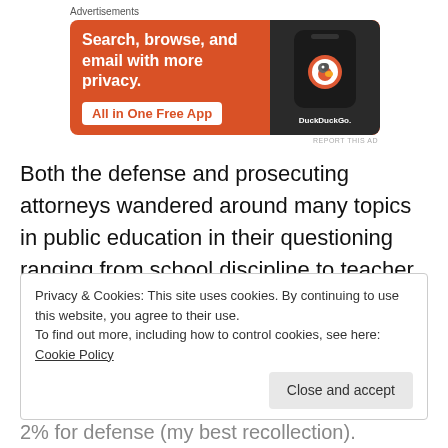Advertisements
[Figure (illustration): DuckDuckGo advertisement banner: orange background with text 'Search, browse, and email with more privacy. All in One Free App' and a phone mockup showing DuckDuckGo logo]
Both the defense and prosecuting attorneys wandered around many topics in public education in their questioning ranging from school discipline to teacher evaluation to teacher tenure. At the end of the mock trial, the jury voted 6-6.  A hung vote! WOW! I think this
Privacy & Cookies: This site uses cookies. By continuing to use this website, you agree to their use.
To find out more, including how to control cookies, see here: Cookie Policy
Close and accept
2% for defense (my best recollection).